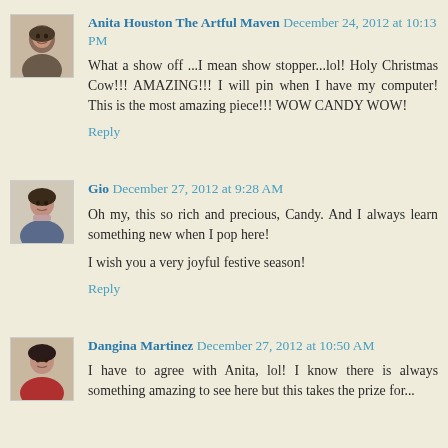[Figure (photo): Avatar photo of Anita Houston, woman with dark hair]
Anita Houston The Artful Maven December 24, 2012 at 10:13 PM
What a show off ...I mean show stopper...lol! Holy Christmas Cow!!! AMAZING!!! I will pin when I have my computer! This is the most amazing piece!!! WOW CANDY WOW!
Reply
[Figure (photo): Avatar photo of Gio, woman with dark hair]
Gio December 27, 2012 at 9:28 AM
Oh my, this so rich and precious, Candy. And I always learn something new when I pop here!
I wish you a very joyful festive season!
Reply
[Figure (photo): Avatar photo of Dangina Martinez, woman with dark hair and red top]
Dangina Martinez December 27, 2012 at 10:50 AM
I have to agree with Anita, lol! I know there is always something amazing to see here but this takes the prize for...